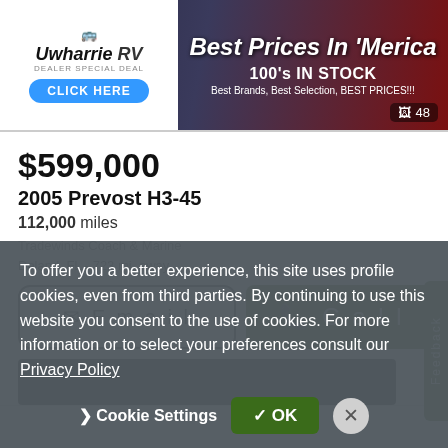[Figure (screenshot): Uwharrie RV advertisement banner with 'Best Prices In Merica' headline, '100's IN STOCK', 'Best Brands, Best Selection, BEST PRICES!!!', and a CLICK HERE button. Photo count badge showing 48.]
$599,000
2005 Prevost H3-45
112,000 miles
Tradewinds Coach & Marine
Deland, FL - 723 mi. away
[Figure (screenshot): Email button (outlined) and Call button (green) side by side, with a vertical green Feedback tab on the right side.]
[Figure (screenshot): Dark photo strip at bottom of listing area.]
To offer you a better experience, this site uses profile cookies, even from third parties. By continuing to use this website you consent to the use of cookies. For more information or to select your preferences consult our Privacy Policy
Cookie Settings   ✓ OK   ✕